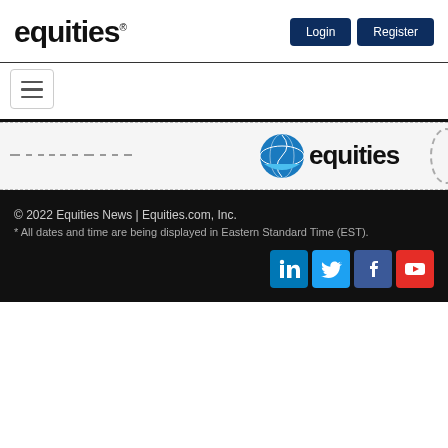[Figure (logo): Equities text logo in black sans-serif with registered trademark symbol]
[Figure (logo): Login and Register navigation buttons in dark navy blue]
[Figure (logo): Hamburger menu toggle button]
[Figure (logo): Equities.com branded banner with blue globe and equities text logo]
© 2022 Equities News | Equities.com, Inc.
* All dates and time are being displayed in Eastern Standard Time (EST).
[Figure (logo): Social media icons: LinkedIn, Twitter, Facebook, YouTube]